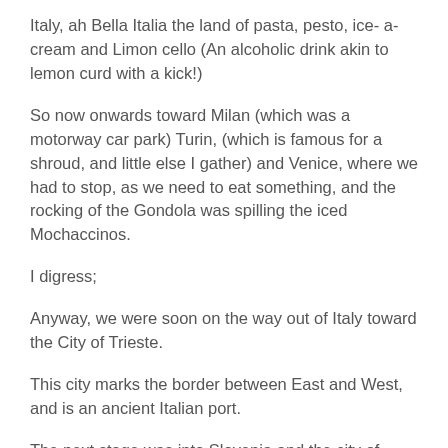Italy, ah Bella Italia the land of pasta, pesto, ice- a- cream and Limon cello (An alcoholic drink akin to lemon curd with a kick!)
So now onwards toward Milan (which was a motorway car park) Turin, (which is famous for a shroud, and little else I gather) and Venice, where we had to stop, as we need to eat something, and the rocking of the Gondola was spilling the iced Mochaccinos.
I digress;
Anyway, we were soon on the way out of Italy toward the City of Trieste.
This city marks the border between East and West, and is an ancient Italian port.
The next stage was into Slovenia and the city of Ljubljana.
Getting into Slovenia was easy as there are